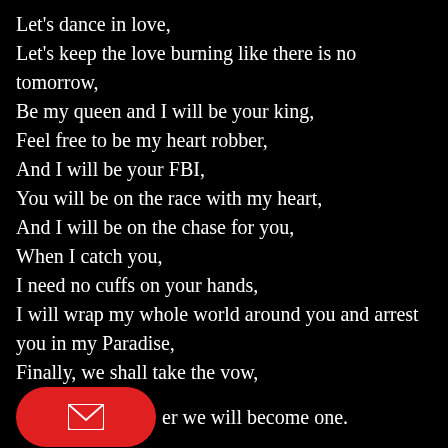Let's dance in love,
Let's keep the love burning like there is no tomorrow,
Be my queen and I will be your king,
Feel free to be my heart robber,
And I will be your FBI,
You will be on the race with my heart,
And I will be on the chase for you,
When I catch you,
I need no cuffs on your hands,
I will wrap my whole world around you and arrest you in my Paradise,
Finally, we shall take the vow,
And together we will become one.
Written and composed: Oke Oluwaseun